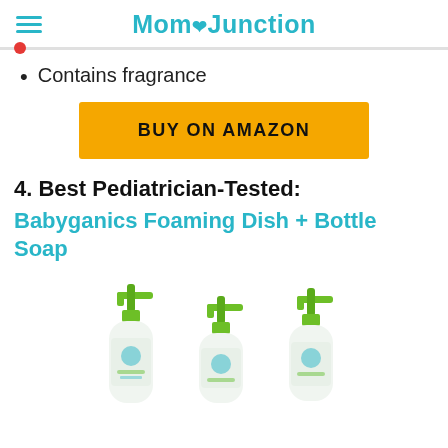MomJunction
Contains fragrance
BUY ON AMAZON
4. Best Pediatrician-Tested:
Babyganics Foaming Dish + Bottle Soap
[Figure (photo): Three Babyganics foaming dish and bottle soap dispensers with green pump tops, white bottles with blue and green labels]